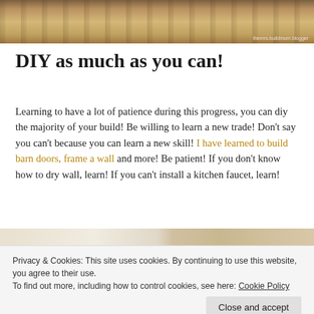[Figure (photo): Construction site photo showing a person standing among wooden framing materials and sawdust on the ground]
DIY as much as you can!
Learning to have a lot of patience during this progress, you can diy the majority of your build! Be willing to learn a new trade! Don't say you can't because you can learn a new skill! I have learned to build barn doors, frame a wall and more! Be patient! If you don't know how to dry wall, learn! If you can't install a kitchen faucet, learn!
[Figure (photo): Interior construction photo showing ceiling framing and wooden structure]
Privacy & Cookies: This site uses cookies. By continuing to use this website, you agree to their use.
To find out more, including how to control cookies, see here: Cookie Policy
Close and accept